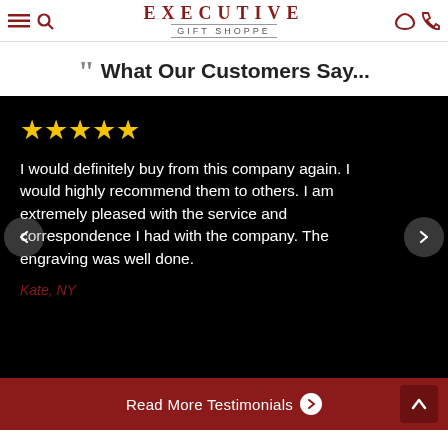EXECUTIVE GIFT SHOPPE
What Our Customers Say...
I would definitely buy from this company again. I would highly recommend them to others. I am extremely pleased with the service and correspondence I had with the company. The engraving was well done.
Kate, NY
Read More Testimonials